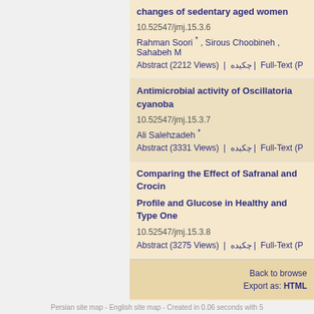changes of sedentary aged women
10.52547/jmj.15.3.6
Rahman Soori * , Sirous Choobineh , Sahabeh M
Abstract (2212 Views)  |  چکیده |  Full-Text (P
Antimicrobial activity of Oscillatoria cyanoba
10.52547/jmj.15.3.7
Ali Salehzadeh *
Abstract (3331 Views)  |  چکیده |  Full-Text (P
Comparing the Effect of Safranal and Crocin
Profile and Glucose in Healthy and Type One
10.52547/jmj.15.3.8
Abstract (3275 Views)  |  چکیده |  Full-Text (P
Back to browse
Export as: HTML
Persian site map - English site map - Created in 0.06 seconds with 5